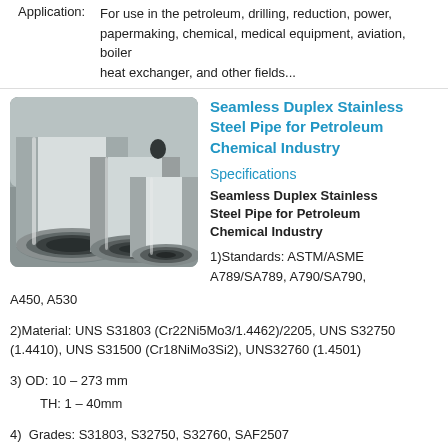For use in the petroleum, drilling, reduction, power, papermaking, chemical, medical equipment, aviation, boiler heat exchanger, and other fields...
Application:
[Figure (photo): Photo of seamless duplex stainless steel pipes, showing multiple cylindrical metal tubes of varying diameters stacked together, with circular hollow ends visible.]
Seamless Duplex Stainless Steel Pipe for Petroleum Chemical Industry
Specifications
Seamless Duplex Stainless Steel Pipe for Petroleum Chemical Industry
1)Standards: ASTM/ASME A789/SA789, A790/SA790, A450, A530
2)Material: UNS S31803 (Cr22Ni5Mo3/1.4462)/2205, UNS S32750 (1.4410), UNS S31500 (Cr18NiMo3Si2), UNS32760 (1.4501)
3) OD: 10 – 273 mm
TH: 1 – 40mm
4)  Grades: S31803, S32750, S32760, SAF2507